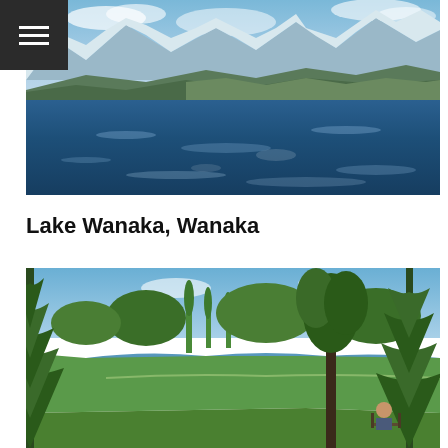[Figure (photo): Lake Wanaka with deep blue water, snow-capped mountains in the background under a partly cloudy blue sky, and hillside terrain in the middle distance]
Lake Wanaka, Wanaka
[Figure (photo): Park scene at Lake Wanaka with green trees including tall pines, a calm water inlet, lush grass, and a person sitting in a chair in the lower right foreground]